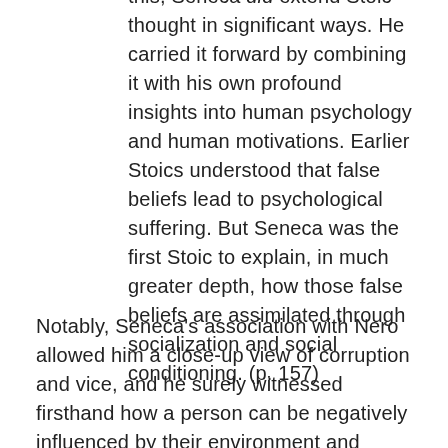this, Seneca did extend Stoic thought in significant ways. He carried it forward by combining it with his own profound insights into human psychology and human motivations. Earlier Stoics understood that false beliefs lead to psychological suffering. But Seneca was the first Stoic to explain, in much greater depth, how those false beliefs are assimilated through socialization and social conditioning. (p. 157)
Notably, Seneca's association with Nero allowed him a close-up view of corruption and vice, and he surely witnessed firsthand how a person can be negatively influenced by their environment and